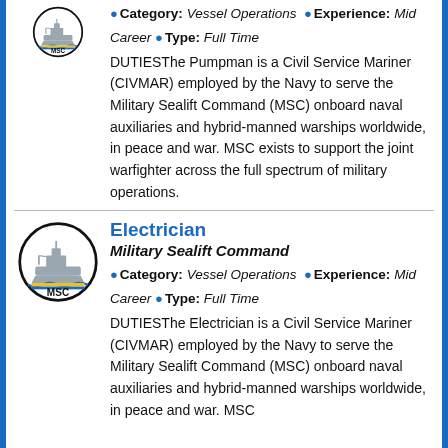Category: Vessel Operations Experience: Mid Career Type: Full Time DUTIESThe Pumpman is a Civil Service Mariner (CIVMAR) employed by the Navy to serve the Military Sealift Command (MSC) onboard naval auxiliaries and hybrid-manned warships worldwide, in peace and war. MSC exists to support the joint warfighter across the full spectrum of military operations.
Electrician
Military Sealift Command
Category: Vessel Operations Experience: Mid Career Type: Full Time DUTIESThe Electrician is a Civil Service Mariner (CIVMAR) employed by the Navy to serve the Military Sealift Command (MSC) onboard naval auxiliaries and hybrid-manned warships worldwide, in peace and war. MSC